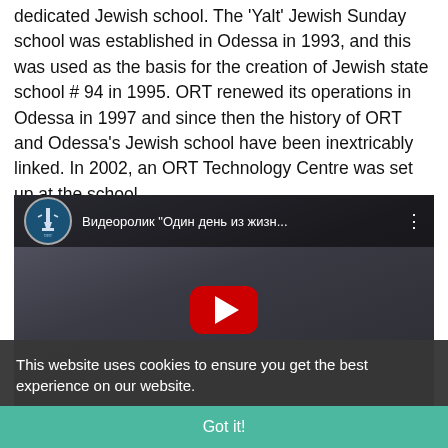dedicated Jewish school. The 'Yalt' Jewish Sunday school was established in Odessa in 1993, and this was used as the basis for the creation of Jewish state school # 94 in 1995. ORT renewed its operations in Odessa in 1997 and since then the history of ORT and Odessa's Jewish school have been inextricably linked. In 2002, an ORT Technology Centre was set up at the school.
[Figure (screenshot): YouTube video embed showing a classroom scene with students, titled 'Видеоролик "Один день из жизн..."' with a red YouTube play button in the center and an ORT Odessa channel avatar in the top left.]
This website uses cookies to ensure you get the best experience on our website.
Got it!